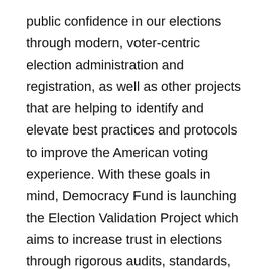public confidence in our elections through modern, voter-centric election administration and registration, as well as other projects that are helping to identify and elevate best practices and protocols to improve the American voting experience. With these goals in mind, Democracy Fund is launching the Election Validation Project which aims to increase trust in elections through rigorous audits, standards, and testing.
Jennifer Morrell, a nationally recognized election official with over eight years of experience managing local elections, has joined Democracy Fund as a consultant to lead this project.